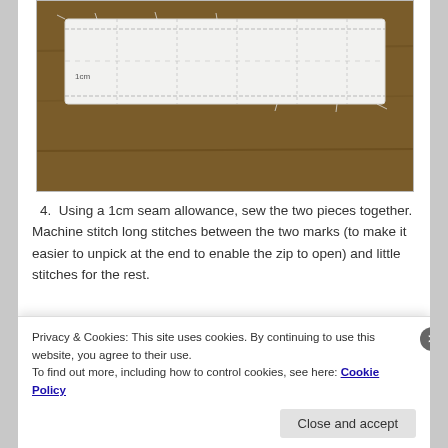[Figure (photo): Photo of a white fabric strip with markings laid on a wooden brown surface]
4. Using a 1cm seam allowance, sew the two pieces together. Machine stitch long stitches between the two marks (to make it easier to unpick at the end to enable the zip to open) and little stitches for the rest.
[Figure (photo): Photo of a sewing machine in use, with blue and black tones visible]
Privacy & Cookies: This site uses cookies. By continuing to use this website, you agree to their use.
To find out more, including how to control cookies, see here: Cookie Policy